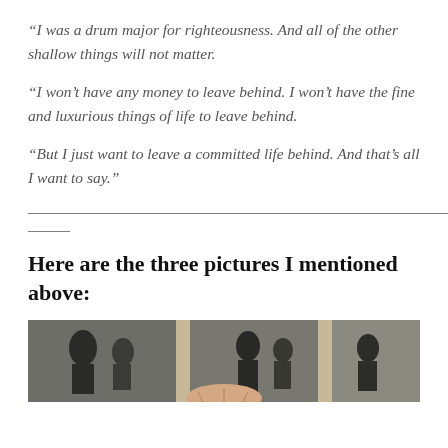“I was a drum major for righteousness. And all of the other shallow things will not matter.
“I won’t have any money to leave behind. I won’t have the fine and luxurious things of life to leave behind.
“But I just want to leave a committed life behind. And that’s all I want to say.”
————————————————————————————————————————————
Here are the three pictures I mentioned above:
[Figure (photo): Black and white photographs displayed in a strip, showing three separate framed photos on a wall or surface.]